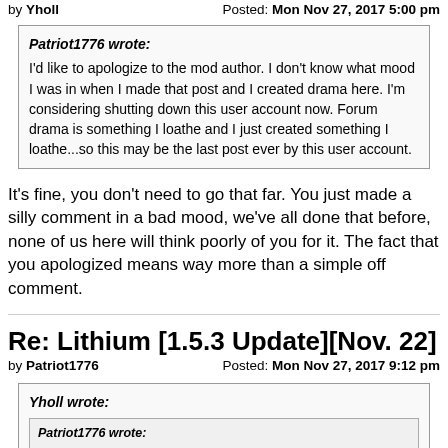by Yholl    Posted: Mon Nov 27, 2017 5:00 pm
Patriot1776 wrote:
I'd like to apologize to the mod author. I don't know what mood I was in when I made that post and I created drama here. I'm considering shutting down this user account now. Forum drama is something I loathe and I just created something I loathe...so this may be the last post ever by this user account.
It's fine, you don't need to go that far. You just made a silly comment in a bad mood, we've all done that before, none of us here will think poorly of you for it. The fact that you apologized means way more than a simple off comment.
Re: Lithium [1.5.3 Update][Nov. 22]
by Patriot1776    Posted: Mon Nov 27, 2017 9:12 pm
Yholl wrote:
Patriot1776 wrote:
I'd like to apologize to the mod author. I don't know what mood I was in when I made that